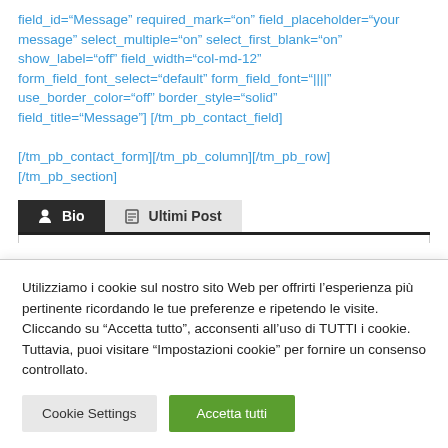field_id="Message" required_mark="on" field_placeholder="your message" select_multiple="on" select_first_blank="on" show_label="off" field_width="col-md-12" form_field_font_select="default" form_field_font="||||" use_border_color="off" border_style="solid" field_title="Message"] [/tm_pb_contact_field]

[/tm_pb_contact_form][/tm_pb_column][/tm_pb_row][/tm_pb_section]
[Figure (screenshot): Tab bar with two tabs: 'Bio' (active, dark background) and 'Ultimi Post' (inactive, grey background)]
Utilizziamo i cookie sul nostro sito Web per offrirti l'esperienza più pertinente ricordando le tue preferenze e ripetendo le visite. Cliccando su "Accetta tutto", acconsenti all'uso di TUTTI i cookie. Tuttavia, puoi visitare "Impostazioni cookie" per fornire un consenso controllato.